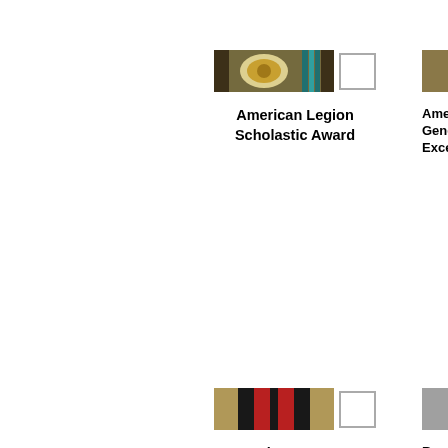[Figure (illustration): American Legion Scholastic Award ribbon - olive/khaki tones with center medal device, shown with checkbox]
American Legion Scholastic Award
[Figure (illustration): American General Excellence ribbon - partially visible on right edge]
American General Excellence (partial)
[Figure (illustration): American Veterans Award ribbon - tan/black/red/tan stripes with checkbox]
American Veterans Award
[Figure (illustration): Reserve Association ribbon - gray/red/blue stripes, partially visible]
Reserve Association (partial)
[Figure (illustration): Military Officers Association Award ribbon - red/white/blue stripes with checkbox]
Military Officers Association Award
[Figure (illustration): Veterans of Foreign Wars ribbon - gold/dark stripes, partially visible]
Veterans of Wars (partial)
[Figure (illustration): Bottom ribbon - blue/gold stripes with checkbox, partial]
Bottom award (partial)